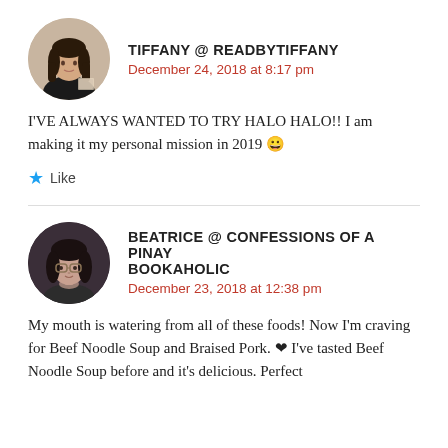[Figure (photo): Round avatar photo of Tiffany, a young woman with dark hair sitting on a bed reading, wearing a black top]
TIFFANY @ READBYTIFFANY
December 24, 2018 at 8:17 pm
I'VE ALWAYS WANTED TO TRY HALO HALO!! I am making it my personal mission in 2019 😀
Like
[Figure (photo): Round avatar photo of Beatrice, a young woman with dark hair and glasses, resting chin on hand]
BEATRICE @ CONFESSIONS OF A PINAY BOOKAHOLIC
December 23, 2018 at 12:38 pm
My mouth is watering from all of these foods! Now I'm craving for Beef Noodle Soup and Braised Pork. ❤ I've tasted Beef Noodle Soup before and it's delicious. Perfect